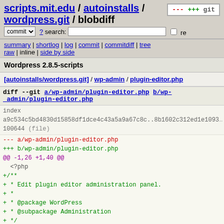scripts.mit.edu / autoinstalls / wordpress.git / blobdiff
commit ? search: re
summary | shortlog | log | commit | commitdiff | tree
raw | inline | side by side
Wordpress 2.8.5-scripts
[autoinstalls/wordpress.git] / wp-admin / plugin-editor.php
diff --git a/wp-admin/plugin-editor.php b/wp-admin/plugin-editor.php
index a9c534c5bd4830d15858df1dce4c43a5a9a67c8c..8b1602c312ed1e1093 100644 (file)
--- a/wp-admin/plugin-editor.php
+++ b/wp-admin/plugin-editor.php
@@ -1,26 +1,40 @@
 <?php
+/**
+ * Edit plugin editor administration panel.
+ *
+ * @package WordPress
+ * @subpackage Administration
+ */
+
+/** WordPress Administration Bootstrap */
 require_once(admin.php);